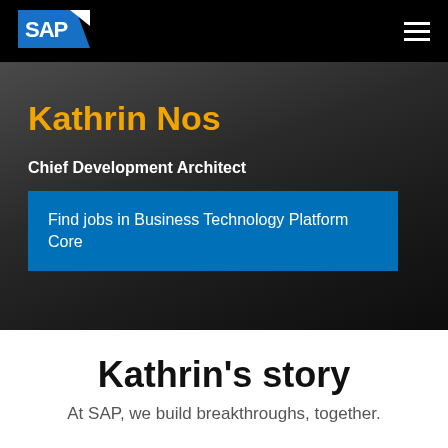SAP
Kathrin Nos
Chief Development Architect
Find jobs in Business Technology Platform Core
Kathrin's story
At SAP, we build breakthroughs, together.